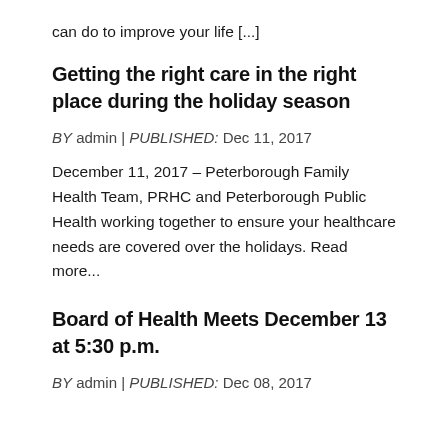can do to improve your life [...]
Getting the right care in the right place during the holiday season
BY admin | PUBLISHED: Dec 11, 2017
December 11, 2017 – Peterborough Family Health Team, PRHC and Peterborough Public Health working together to ensure your healthcare needs are covered over the holidays. Read more...
Board of Health Meets December 13 at 5:30 p.m.
BY admin | PUBLISHED: Dec 08, 2017